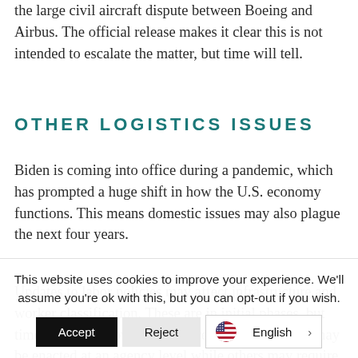the large civil aircraft dispute between Boeing and Airbus. The official release makes it clear this is not intended to escalate the matter, but time will tell.
OTHER LOGISTICS ISSUES
Biden is coming into office during a pandemic, which has prompted a huge shift in how the U.S. economy functions. This means domestic issues may also plague the next four years.
Updates to labor policies may affect infrastructure and worker classification. These are in initial phases, but time will show how these progress. Some of these may be enacted at an agency level while others may require
This website uses cookies to improve your experience. We'll assume you're ok with this, but you can opt-out if you wish.